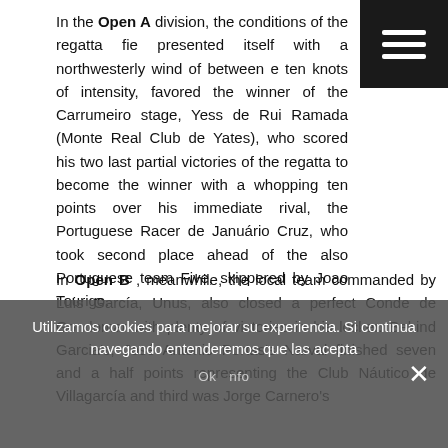In the Open A division, the conditions of the regatta field presented itself with a northwesterly wind of between eight and ten knots of intensity, favored the winner of the Carrumeiro stage, Yess de Rui Ramada (Monte Real Club de Yates), who scored his two last partial victories of the regatta to become the winner with a whopping ten points over his immediate rival, the Portuguese Racer de Januário Cruz, who took second place ahead of the also Portuguese team Five, skippered by Joao Tourigo.
In Open B , meanwhile, the local team commanded by Luis García, Unus, also closed a perfect Conde de Gondomar with plenty of victories in his locker. Behind Garcia's, José Antonio Portas's Narval finished seven and a half points representing the Club Náutico de Villagarcía and third was Jorge Carnero's
Utilizamos cookies para mejorar su experiencia. Si continua navegando entenderemos que las acepta